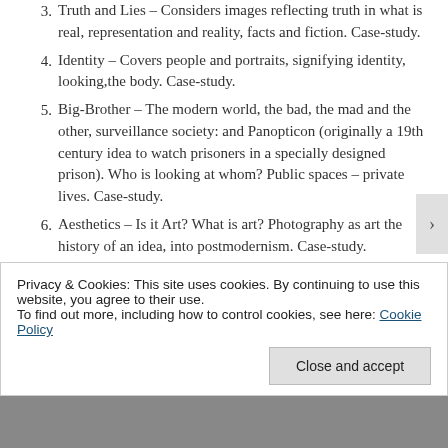3. Truth and Lies – Considers images reflecting truth in what is real, representation and reality, facts and fiction.  Case-study.
4. Identity – Covers people and portraits, signifying identity, looking,the body.  Case-study.
5. Big-Brother – The modern world, the bad, the mad and the other, surveillance society: and Panopticon (originally a 19th century idea to watch prisoners in a specially designed prison). Who is looking at whom? Public spaces – private lives.  Case-study.
6. Aesthetics – Is it Art? What is art? Photography as art the history of an idea, into postmodernism.  Case-study.
Privacy & Cookies: This site uses cookies. By continuing to use this website, you agree to their use.
To find out more, including how to control cookies, see here: Cookie Policy
Close and accept